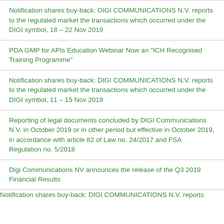Notification shares buy-back: DIGI COMMUNICATIONS N.V. reports to the regulated market the transactions which occurred under the DIGI symbol, 18 – 22 Nov 2019
PDA GMP for APIs Education Webinar Now an "ICH Recognised Training Programme"
Notification shares buy-back: DIGI COMMUNICATIONS N.V. reports to the regulated market the transactions which occurred under the DIGI symbol, 11 – 15 Nov 2019
Reporting of legal documents concluded by DIGI Communications N.V. in October 2019 or in other period but effective in October 2019, in accordance with article 82 of Law no. 24/2017 and FSA Regulation no. 5/2018
Digi Communications NV announces the release of the Q3 2019 Financial Results
Notification shares buy-back: DIGI COMMUNICATIONS N.V. reports